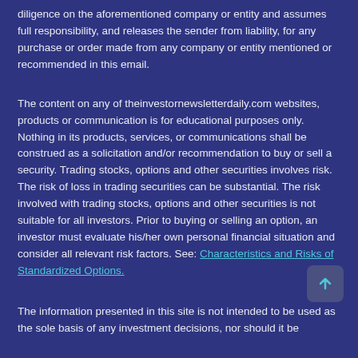diligence on the aforementioned company or entity and assumes full responsibility, and releases the sender from liability, for any purchase or order made from any company or entity mentioned or recommended in this email.
The content on any of theinvestornewsletterdaily.com websites, products or communication is for educational purposes only. Nothing in its products, services, or communications shall be construed as a solicitation and/or recommendation to buy or sell a security. Trading stocks, options and other securities involves risk. The risk of loss in trading securities can be substantial. The risk involved with trading stocks, options and other securities is not suitable for all investors. Prior to buying or selling an option, an investor must evaluate his/her own personal financial situation and consider all relevant risk factors. See: Characteristics and Risks of Standardized Options.
The information presented in this site is not intended to be used as the sole basis of any investment decisions, nor should it be